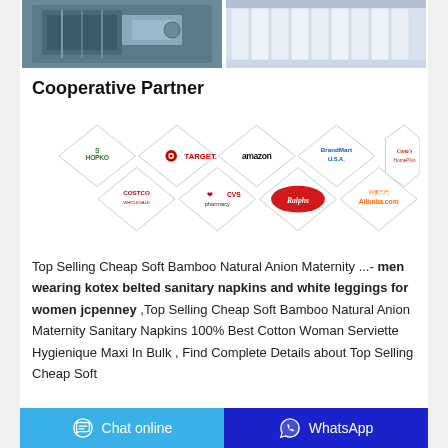[Figure (photo): Two manufacturing/factory photos side by side showing packaging machinery and white bags on a production line]
Cooperative Partner
[Figure (infographic): Diamond-shaped logo grid showing cooperative partner brand logos: Shopko, Target, Amazon, BrandMart USA, Cona's HomePlus, Costco, CVS pharmacy, Ralphs, Alibaba.com]
Top Selling Cheap Soft Bamboo Natural Anion Maternity ...- men wearing kotex belted sanitary napkins and white leggings for women jcpenney ,Top Selling Cheap Soft Bamboo Natural Anion Maternity Sanitary Napkins 100% Best Cotton Woman Serviette Hygienique Maxi In Bulk , Find Complete Details about Top Selling Cheap Soft
Chat online   WhatsApp